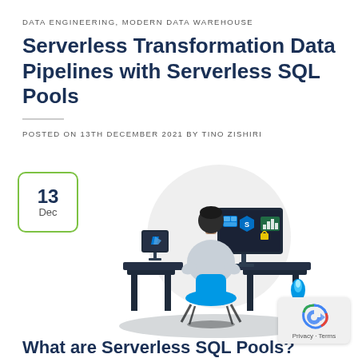DATA ENGINEERING, MODERN DATA WAREHOUSE
Serverless Transformation Data Pipelines with Serverless SQL Pools
POSTED ON 13TH DECEMBER 2021 BY TINO ZISHIRI
[Figure (illustration): Date badge showing '13 Dec' in a green-bordered rounded rectangle, positioned top-left of the illustration area.]
[Figure (illustration): Flat-style illustration of a person sitting at a desk with a computer monitor showing Azure/cloud service icons (Azure Synapse, charts), with a desk lamp, second monitor on a side table, on a dark floor shadow with a light grey circular background.]
What are Serverless SQL Pools?